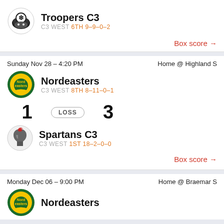Troopers C3
C3 WEST 6TH 9-9-0-2
Box score →
Sunday Nov 28 – 4:20 PM
Home @ Highland S
Nordeasters
C3 WEST 8TH 8-11-0-1
1
LOSS
3
Spartans C3
C3 WEST 1ST 18-2-0-0
Box score →
Monday Dec 06 – 9:00 PM
Home @ Braemar S
Nordeasters